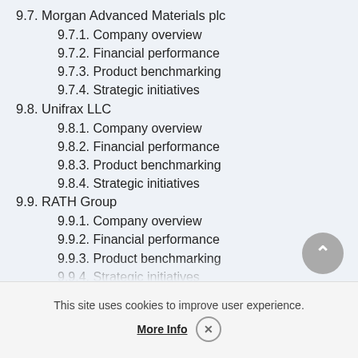9.7. Morgan Advanced Materials plc
9.7.1. Company overview
9.7.2. Financial performance
9.7.3. Product benchmarking
9.7.4. Strategic initiatives
9.8. Unifrax LLC
9.8.1. Company overview
9.8.2. Financial performance
9.8.3. Product benchmarking
9.8.4. Strategic initiatives
9.9. RATH Group
9.9.1. Company overview
9.9.2. Financial performance
9.9.3. Product benchmarking
9.9.4. Strategic initiatives
9.10. IBIDEN CO., LTD
9.10.1. Company overview
9.10.2. Financial performance
9.10.3. Product benchmarking